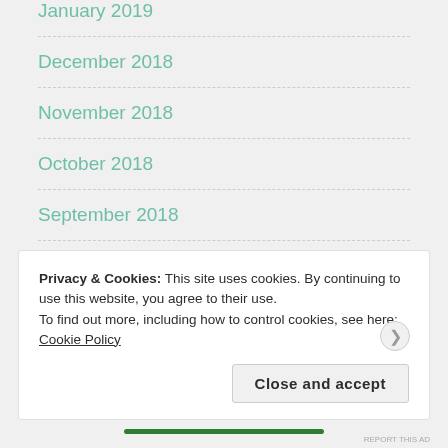January 2019
December 2018
November 2018
October 2018
September 2018
August 2018
July 2018
June 2018
Privacy & Cookies: This site uses cookies. By continuing to use this website, you agree to their use.
To find out more, including how to control cookies, see here: Cookie Policy
Close and accept